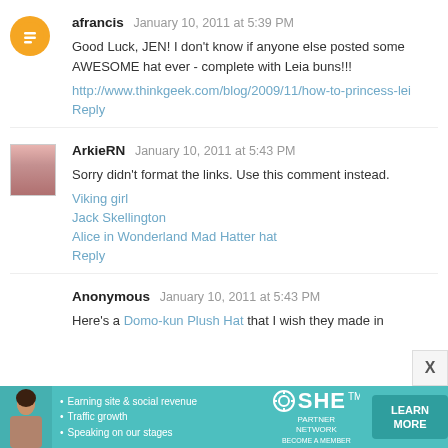afrancis  January 10, 2011 at 5:39 PM
Good Luck, JEN! I don't know if anyone else posted some AWESOME hat ever - complete with Leia buns!!!
http://www.thinkgeek.com/blog/2009/11/how-to-princess-lei
Reply
ArkieRN  January 10, 2011 at 5:43 PM
Sorry didn't format the links. Use this comment instead.
Viking girl
Jack Skellington
Alice in Wonderland Mad Hatter hat
Reply
Anonymous  January 10, 2011 at 5:43 PM
Here's a Domo-kun Plush Hat that I wish they made in
[Figure (infographic): SHE Partner Network advertisement banner with teal background, woman photo, bullet points about earnings/traffic/speaking, SHE logo, and Learn More button]